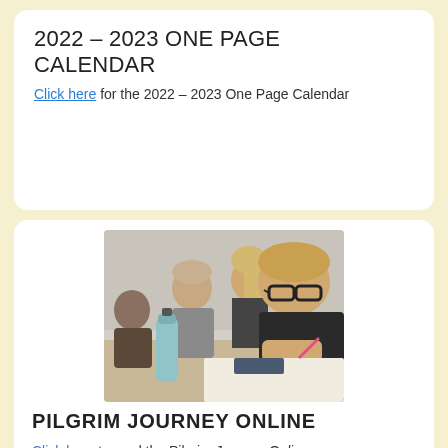2022 – 2023 ONE PAGE CALENDAR
Click here for the 2022 – 2023 One Page Calendar
[Figure (photo): Students in a classroom; a student in the foreground wearing glasses writes on paper with a pink pen, other students visible in the background]
PILGRIM JOURNEY ONLINE
Click here to read the Pilgrim Journey Online.